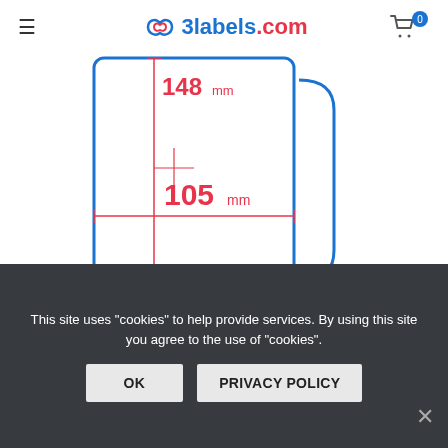3labels.com
[Figure (schematic): Label dimension diagram showing 148mm height and 105mm width with measurement arrows on a rectangular label outline]
3labels matt paper inkjet labels 105×148 mm, 500 pcs.
Ask for price
Thermal transfer labels
This site uses "cookies" to help provide services. By using this site you agree to the use of "cookies".